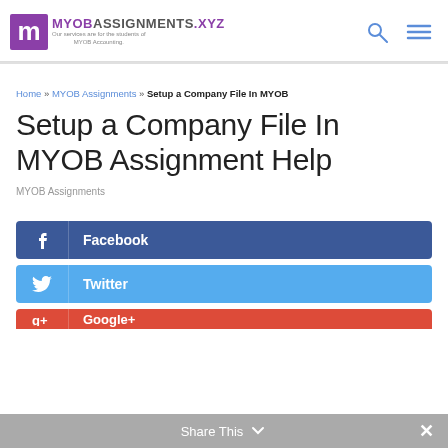MYOBASSIGNMENTS.XYZ — Our services are for the students of MYOB Accounting.
Home » MYOB Assignments » Setup a Company File In MYOB
Setup a Company File In MYOB Assignment Help
MYOB Assignments
[Figure (infographic): Facebook share button (dark blue)]
[Figure (infographic): Twitter share button (blue)]
[Figure (infographic): Google+ share button (red, partially visible)]
Share This  ×